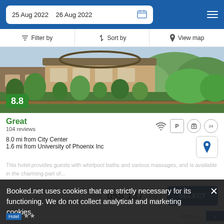25 Aug 2022  26 Aug 2022
Filter by  Sort by  View map
[Figure (photo): Hotel exterior photo showing a building with trees and landscaping]
8.8
Great
104 reviews
8.0 mi from City Center
1.6 mi from University of Phoenix Inc
This hotel provides guests with whirlpool baths and various massages, and is available in the charming part of...
from us$ 137/night
SELECT
Booked.net uses cookies that are strictly necessary for its functioning. We do not collect analytical and marketing cookies.